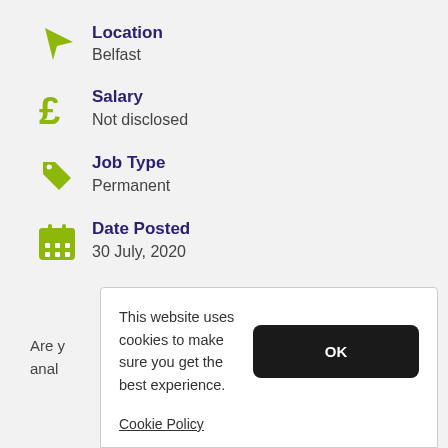Location
Belfast
Salary
Not disclosed
Job Type
Permanent
Date Posted
30 July, 2020
Are y
anal
This website uses cookies to make sure you get the best experience.
Cookie Policy
OK